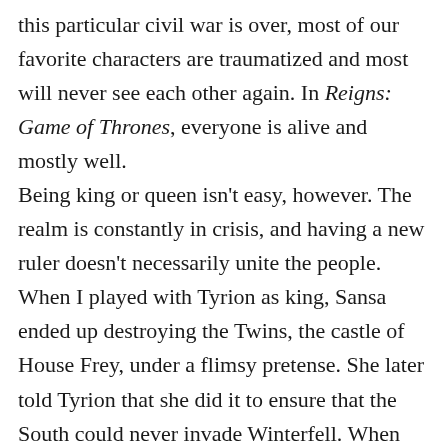this particular civil war is over, most of our favorite characters are traumatized and most will never see each other again. In Reigns: Game of Thrones, everyone is alive and mostly well.
Being king or queen isn't easy, however. The realm is constantly in crisis, and having a new ruler doesn't necessarily unite the people. When I played with Tyrion as king, Sansa ended up destroying the Twins, the castle of House Frey, under a flimsy pretense. She later told Tyrion that she did it to ensure that the South could never invade Winterfell. When Sansa was Queen, King's Landing was constantly at war with the Iron Islands. My biggest problem in all playthroughs was running out of coin. It turns out feeding the